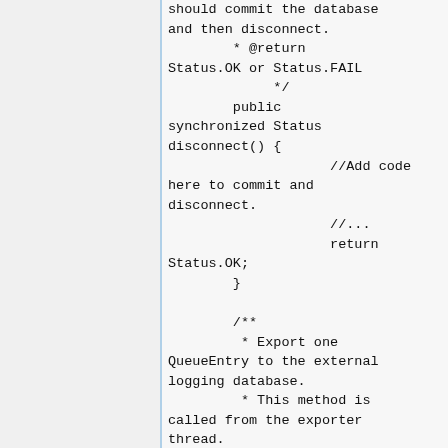should commit the database and then disconnect.
        * @return Status.OK or Status.FAIL
             */
        public synchronized Status disconnect() {
                    //Add code here to commit and disconnect.
                    //...
                    return Status.OK;
        }

        /**
         * Export one QueueEntry to the external logging database.
         * This method is called from the exporter thread.
         * @return Status.OK, Status.RETRY,